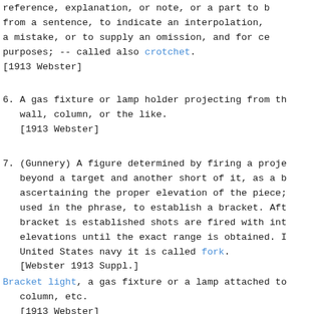reference, explanation, or note, or a part to b
from a sentence, to indicate an interpolation,
a mistake, or to supply an omission, and for ce
purposes; -- called also crotchet.
[1913 Webster]
6. A gas fixture or lamp holder projecting from th
   wall, column, or the like.
   [1913 Webster]
7. (Gunnery) A figure determined by firing a proje
   beyond a target and another short of it, as a b
   ascertaining the proper elevation of the piece;
   used in the phrase, to establish a bracket. Aft
   bracket is established shots are fired with int
   elevations until the exact range is obtained. I
   United States navy it is called fork.
   [Webster 1913 Suppl.]
Bracket light, a gas fixture or a lamp attached to
   column, etc.
   [1913 Webster]